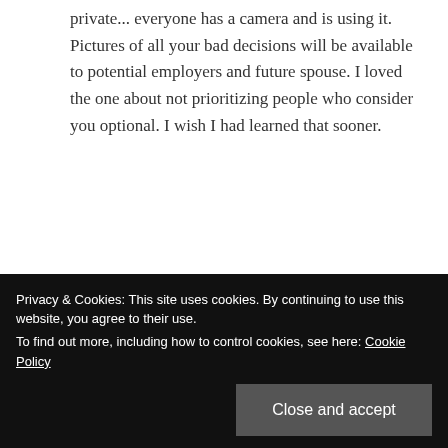private... everyone has a camera and is using it. Pictures of all your bad decisions will be available to potential employers and future spouse. I loved the one about not prioritizing people who consider you optional. I wish I had learned that sooner.
★ Liked by 1 person
Ally Bean
every moment and breath of kids. I agree
Privacy & Cookies: This site uses cookies. By continuing to use this website, you agree to their use. To find out more, including how to control cookies, see here: Cookie Policy